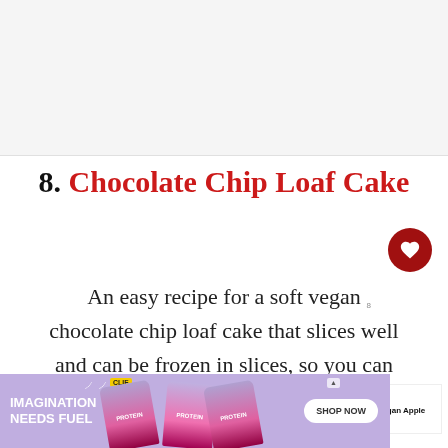[Figure (other): Gray rectangular banner/placeholder at top of page]
8. Chocolate Chip Loaf Cake
An easy recipe for a soft vegan chocolate chip loaf cake that slices well and can be frozen in slices, so you can have a slice when you want
[Figure (infographic): Advertisement banner for CLIF protein bars with text IMAGINATION NEEDS FUEL and SHOP NOW button on purple background]
[Figure (other): What's Next panel showing Easy Vegan Apple Loaf... suggestion]